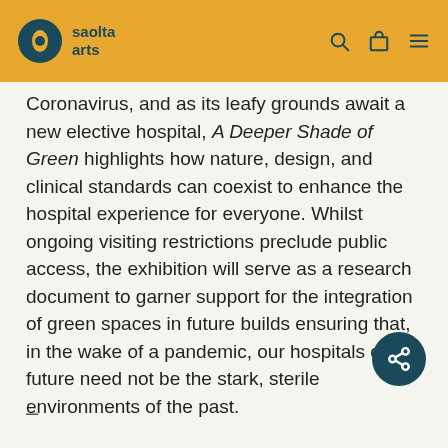saolta arts
Coronavirus, and as its leafy grounds await a new elective hospital, A Deeper Shade of Green highlights how nature, design, and clinical standards can coexist to enhance the hospital experience for everyone. Whilst ongoing visiting restrictions preclude public access, the exhibition will serve as a research document to garner support for the integration of green spaces in future builds ensuring that, in the wake of a pandemic, our hospitals of the future need not be the stark, sterile environments of the past.
–